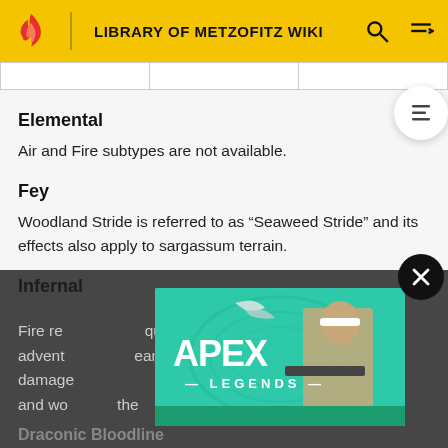LIBRARY OF METZOFITZ WIKI
Elemental
Air and Fire subtypes are not available.
Fey
Woodland Stride is referred to as “Seaweed Stride” and its effects also apply to sargassum terrain.
Infernal
Fire re[...] quatic advent[...] eam damage[...] Fins” and wo[...] the Draconic Bloodline
[Figure (screenshot): Apex Legends advertisement banner showing a character with a sniper rifle against a teal background with the Apex Legends logo]